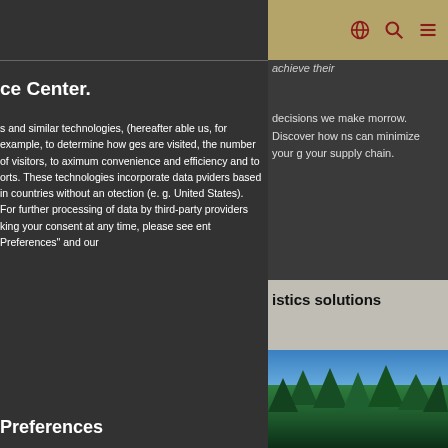Navigation bar with globe, search, and menu icons
ce Center.
s and similar technologies, (hereafter able us, for example, to determine how ges are visited, the number of visitors, to aximum convenience and efficiency and to orts. These technologies incorporate data pviders based in countries without an otection (e. g. United States). For further processing of data by third-party providers king your consent at any time, please see ent Preferences" and our
achieve their
decisions we make morrow. Discover how ns can minimize your g your supply chain.
istics solutions
[Figure (photo): Aerial view of green forest trees with blue sky]
Preferences